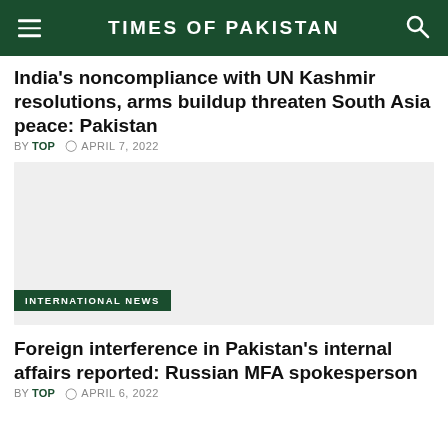TIMES OF PAKISTAN
India's noncompliance with UN Kashmir resolutions, arms buildup threaten South Asia peace: Pakistan
BY TOP  APRIL 7, 2022
[Figure (photo): Image placeholder for article about India noncompliance with UN Kashmir resolutions]
INTERNATIONAL NEWS
Foreign interference in Pakistan's internal affairs reported: Russian MFA spokesperson
BY TOP  APRIL 6, 2022